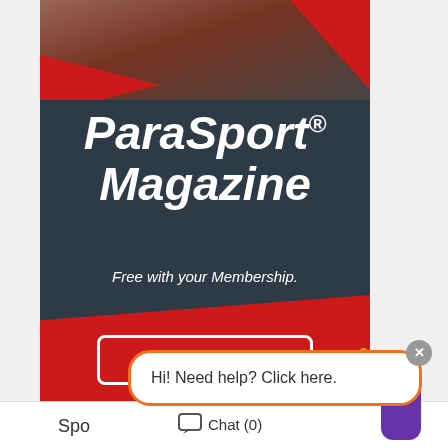[Figure (illustration): ParaSport Magazine advertisement banner with dark navy background, red geometric shapes, athlete photo at top, bold italic white title text 'ParaSport® Magazine', subtitle 'Free with your Membership.', and a 'JOIN TODAY >' button with white border]
Hi! Need help? Click here.
Spo
Chat (0)